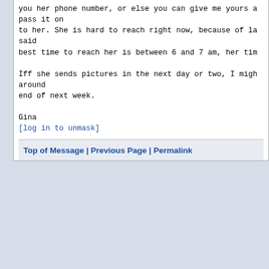you her phone number, or else you can give me yours a
pass it on
to her. She is hard to reach right now, because of la
said
best time to reach her is between 6 and 7 am, her tim

Iff she sends pictures in the next day or two, I migh
around
end of next week.

Gina
[log in to unmask]
Top of Message | Previous Page | Permalink